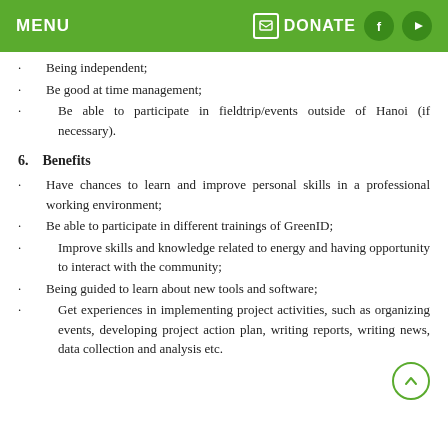MENU   DONATE   f   YouTube
Being independent;
Be good at time management;
Be able to participate in fieldtrip/events outside of Hanoi (if necessary).
6.   Benefits
Have chances to learn and improve personal skills in a professional working environment;
Be able to participate in different trainings of GreenID;
Improve skills and knowledge related to energy and having opportunity to interact with the community;
Being guided to learn about new tools and software;
Get experiences in implementing project activities, such as organizing events, developing project action plan, writing reports, writing news, data collection and analysis etc.